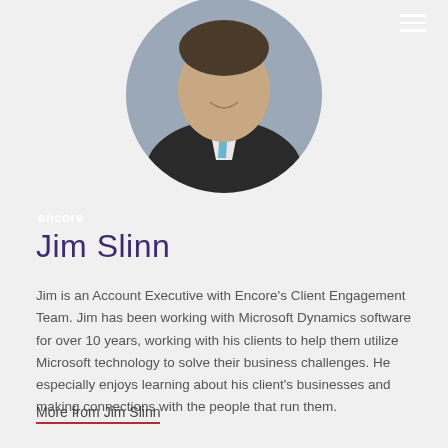[Figure (photo): Circular headshot photo of Jim Slinn, a man in a dark suit with a light blue tie, smiling. The photo is cropped in a circle at the top of the page. An 'encore' logo appears in white in the lower-left of the image area, and a hamburger menu icon appears in the upper right.]
Jim Slinn
Jim is an Account Executive with Encore's Client Engagement Team. Jim has been working with Microsoft Dynamics software for over 10 years, working with his clients to help them utilize Microsoft technology to solve their business challenges. He especially enjoys learning about his client's businesses and making connections with the people that run them.
More from Jim Slinn